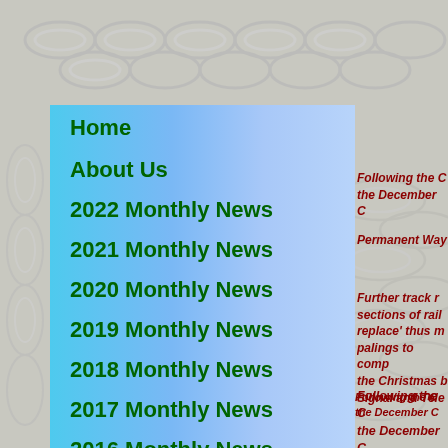Home
About Us
2022 Monthly News
2021 Monthly News
2020 Monthly News
2019 Monthly News
2018 Monthly News
2017 Monthly News
2016 Monthly News
2015 Monthly News
Following the C the December C
Permanent Way
Further track r sections of rail replace' thus m palings to comp the Christmas b
Signal and Tele